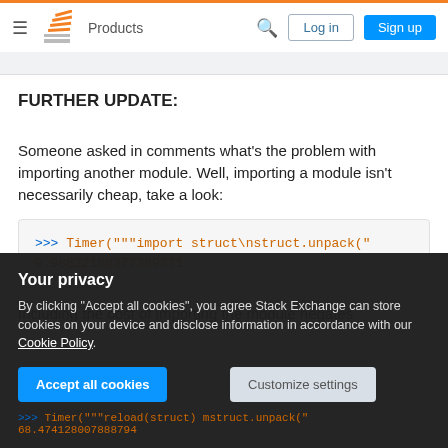≡  [Stack Overflow Logo]  Products  🔍  Log in  Sign up
FURTHER UPDATE:
Someone asked in comments what's the problem with importing another module. Well, importing a module isn't necessarily cheap, take a look:
>>> Timer("""import struct\nstruct.unpack("
0.98822188377380371
Including the cost of importing the module negates
Your privacy
By clicking "Accept all cookies", you agree Stack Exchange can store cookies on your device and disclose information in accordance with our Cookie Policy.
Accept all cookies   Customize settings
>>> Timer("""reload(struct) mstruct.unpack("
68.474128007888794